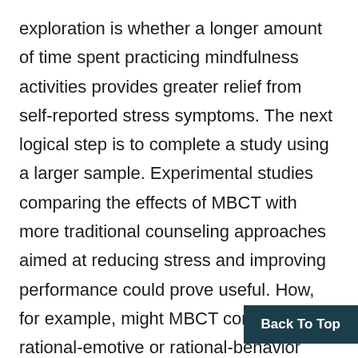exploration is whether a longer amount of time spent practicing mindfulness activities provides greater relief from self-reported stress symptoms. The next logical step is to complete a study using a larger sample. Experimental studies comparing the effects of MBCT with more traditional counseling approaches aimed at reducing stress and improving performance could prove useful. How, for example, might MBCT compare to rational-emotive or rational-behavior approaches to reducing stress? Additionally, given the evolving nature of technology-based counseling interventions, future research on MBCT also might the value and usefulness of online MBCT
Back To Top